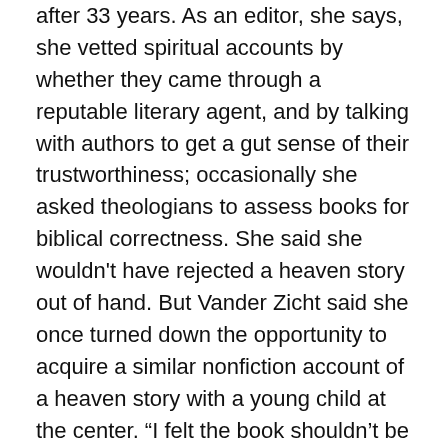after 33 years. As an editor, she says, she vetted spiritual accounts by whether they came through a reputable literary agent, and by talking with authors to get a gut sense of their trustworthiness; occasionally she asked theologians to assess books for biblical correctness. She said she wouldn't have rejected a heaven story out of hand. But Vander Zicht said she once turned down the opportunity to acquire a similar nonfiction account of a heaven story with a young child at the center. “I felt the book shouldn’t be published until the boy was old enough to tell it himself,” she said. “I suspected it would be a bestseller, but I was uneasy.”
“You didn’t have to be a theological whiz to immediately see problems with these books,” said Justin Peters, a conservative independent evangelist who has been critical of the heaven genre, and who is friendly with Beth and